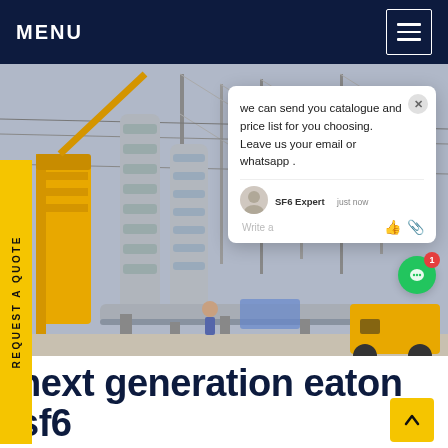MENU
[Figure (photo): Electrical substation with large SF6 circuit breakers and insulators being installed by a yellow crane. High-voltage transmission towers visible in the background against an overcast sky.]
REQUEST A QUOTE
we can send you catalogue and price list for you choosing. Leave us your email or whatsapp .
SF6 Expert    just now
Write a
next generation eaton sf6 Spain